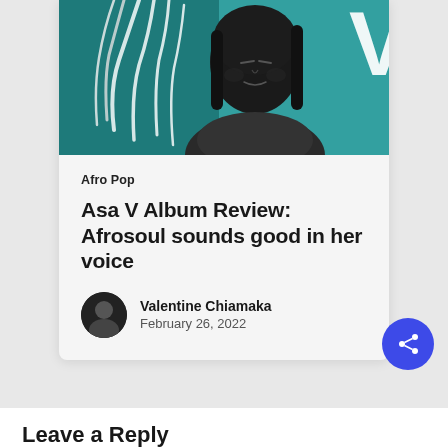[Figure (photo): A young Black woman with long braided hair against a teal/dark teal background, wearing a textured garment. A large white letter V is partially visible in the top right.]
Afro Pop
Asa V Album Review: Afrosoul sounds good in her voice
Valentine Chiamaka
February 26, 2022
Leave a Reply